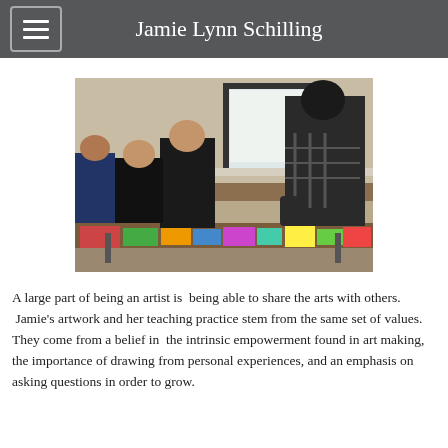Jamie Lynn Schilling
[Figure (photo): People seated and standing around tables covered with colorful paper materials in an art classroom or workshop setting. A person in a plaid shirt leans over a table, and others are seated working on art projects.]
A large part of being an artist is  being able to share the arts with others.  Jamie's artwork and her teaching practice stem from the same set of values. They come from a belief in  the intrinsic empowerment found in art making, the importance of drawing from personal experiences, and an emphasis on asking questions in order to grow.